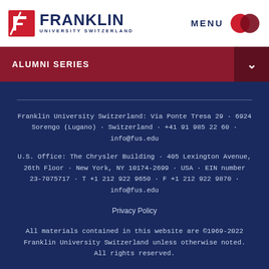FRANKLIN UNIVERSITY SWITZERLAND | MENU
ALUMNI SERIES
Franklin University Switzerland: Via Ponte Tresa 29 · 6924 Sorengo (Lugano) · Switzerland · +41 91 985 22 60 · info@fus.edu
U.S. Office: The Chrysler Building · 405 Lexington Avenue, 26th Floor · New York, NY 10174-2699 · USA · EIN number 23-7075717 · T +1 212 922 9650 · F +1 212 922 9870 · info@fus.edu
Privacy Policy
All materials contained in this website are ©1969-2022 Franklin University Switzerland unless otherwise noted. All rights reserved.